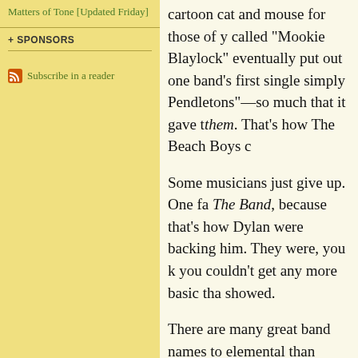Matters of Tone [Updated Friday]
+ SPONSORS
Subscribe in a reader
cartoon cat and mouse for those of you called "Mookie Blaylock" eventually put out one band's first single simply Pendletons"—so much that it gave them. That's how The Beach Boys c
Some musicians just give up. One fa The Band, because that's how Dylan were backing him. They were, you k you couldn't get any more basic than showed.
There are many great band names to elemental than Earth, Wind and Fire Velvet Underground are great names Sabbath (which came from a 1963 B Flag too for that matter; The Sex Pis Public Enemy, The Smiths (a name w like their music," as Joe Daly pointe good ones. There's a jazz band calle